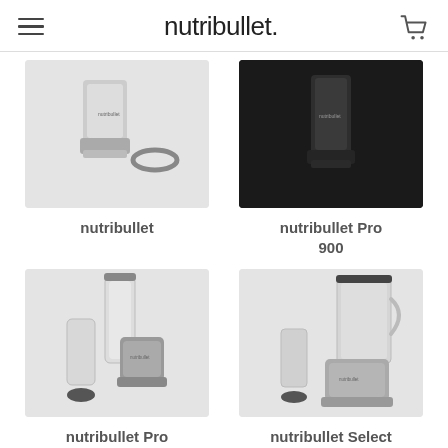nutribullet.
[Figure (photo): nutribullet blender with cup and ring on light grey background]
nutribullet
[Figure (photo): nutribullet Pro 900 blender on dark/black background]
nutribullet Pro 900
[Figure (photo): nutribullet Pro 1000 blender with cups and lid on light grey background]
nutribullet Pro 1000
[Figure (photo): nutribullet Select blender with pitcher and cup on light grey background]
nutribullet Select